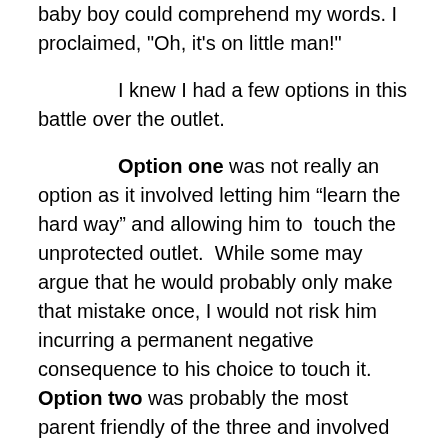baby boy could comprehend my words. I proclaimed, "Oh, it's on little man!"
I knew I had a few options in this battle over the outlet.
Option one was not really an option as it involved letting him “learn the hard way” and allowing him to touch the unprotected outlet. While some may argue that he would probably only make that mistake once, I would not risk him incurring a permanent negative consequence to his choice to touch it. Option two was probably the most parent friendly of the three and involved simply redirecting his attention to something else and removing him from the source of danger. Option three involved giving Steven a quick, consistent consequence for choosing to touch the outlet. If he associated touching the outlet with a negative result, surely he would no longer seek to touch it!